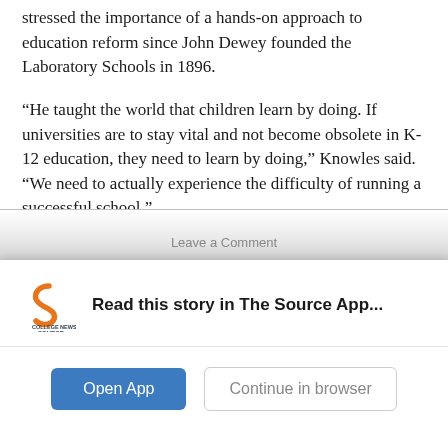stressed the importance of a hands-on approach to education reform since John Dewey founded the Laboratory Schools in 1896.
“He taught the world that children learn by doing. If universities are to stay vital and not become obsolete in K-12 education, they need to learn by doing,” Knowles said. “We need to actually experience the difficulty of running a successful school.”
[Figure (screenshot): App download banner for College News Source app showing logo, text 'Read this story in The Source App...', and two buttons: 'Open App' and 'Continue in browser']